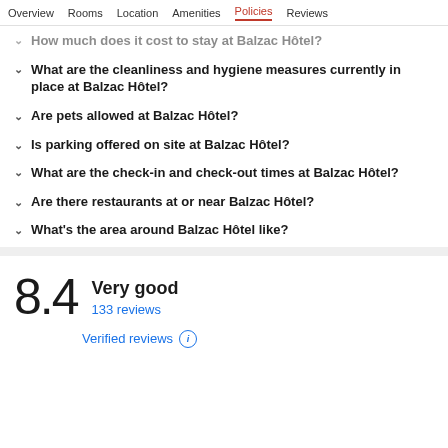Overview | Rooms | Location | Amenities | Policies | Reviews
How much does it cost to stay at Balzac Hôtel?
What are the cleanliness and hygiene measures currently in place at Balzac Hôtel?
Are pets allowed at Balzac Hôtel?
Is parking offered on site at Balzac Hôtel?
What are the check-in and check-out times at Balzac Hôtel?
Are there restaurants at or near Balzac Hôtel?
What's the area around Balzac Hôtel like?
8.4 Very good
133 reviews
Verified reviews
133 reviews